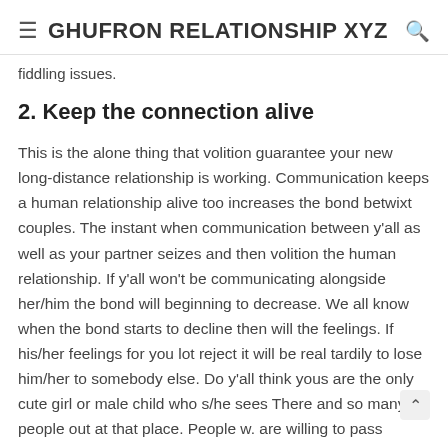≡ GHUFRON RELATIONSHIP XYZ 🔍
fiddling issues.
2. Keep the connection alive
This is the alone thing that volition guarantee your new long-distance relationship is working. Communication keeps a human relationship alive too increases the bond betwixt couples. The instant when communication between y'all as well as your partner seizes and then volition the human relationship. If y'all won't be communicating alongside her/him the bond will beginning to decrease. We all know when the bond starts to decline then will the feelings. If his/her feelings for you lot reject it will be real tardily to lose him/her to somebody else. Do y'all think yous are the only cute girl or male child who s/he sees There and so many people out at that place. People w. are willing to pass her/him company every moment s/he